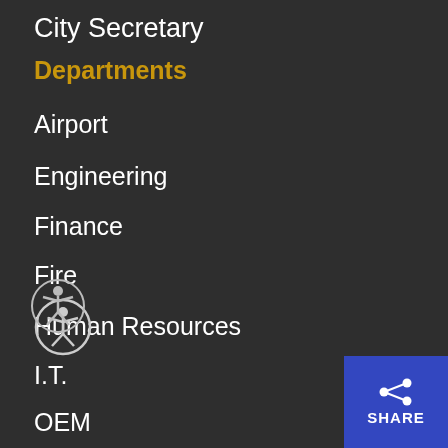City Secretary
Departments
Airport
Engineering
Finance
Fire
Human Resources
I.T.
OEM
Planning & C.E.
Police
Public Utilities